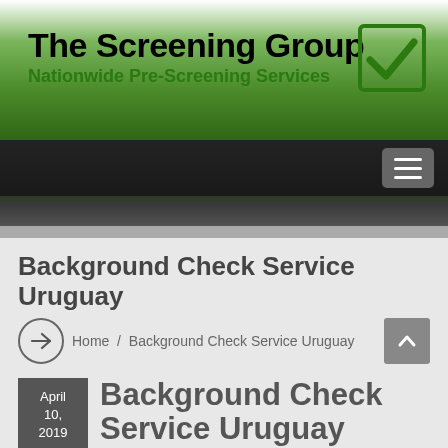[Figure (logo): The Screening Group logo with green checkmark in box, title 'The Screening Group' in bold black and subtitle 'Nationwide Pre-Screening Services' in bold green]
[Figure (screenshot): Dark navigation bar with hamburger menu button (three white lines on gray rounded rectangle)]
Background Check Service Uruguay
Home / Background Check Service Uruguay
Background Check Service Uruguay
April 10, 2019
Pre-Screening pre-screening